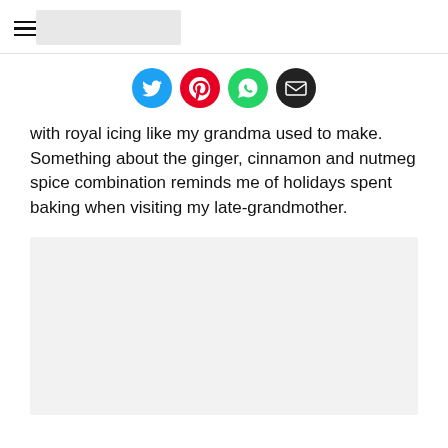[Figure (other): Social share icons: Twitter (blue), Pinterest (red), WhatsApp (green), Email (black)]
with royal icing like my grandma used to make. Something about the ginger, cinnamon and nutmeg spice combination reminds me of holidays spent baking when visiting my late-grandmother.
[Figure (photo): Large image placeholder with light gray background]